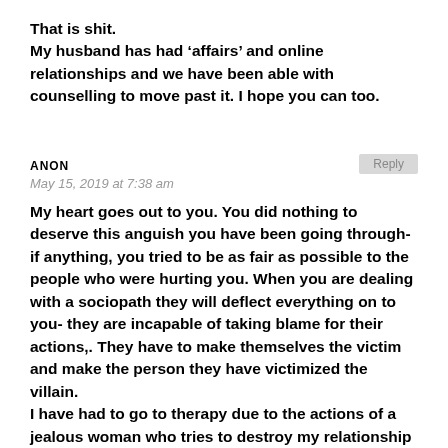That is shit.
My husband has had ‘affairs’ and online relationships and we have been able with counselling to move past it. I hope you can too.
ANON
May 15, 2019 at 7:38 am
My heart goes out to you. You did nothing to deserve this anguish you have been going through- if anything, you tried to be as fair as possible to the people who were hurting you. When you are dealing with a sociopath they will deflect everything on to you- they are incapable of taking blame for their actions,. They have to make themselves the victim and make the person they have victimized the villain.
I have had to go to therapy due to the actions of a jealous woman who tries to destroy my relationship